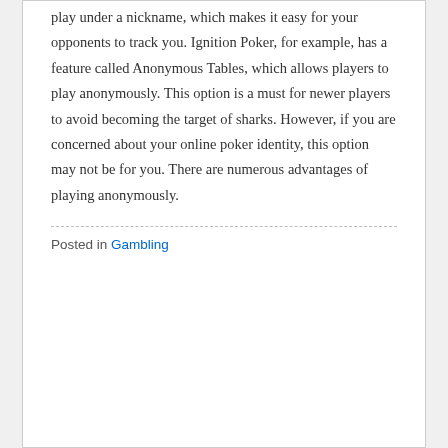play under a nickname, which makes it easy for your opponents to track you. Ignition Poker, for example, has a feature called Anonymous Tables, which allows players to play anonymously. This option is a must for newer players to avoid becoming the target of sharks. However, if you are concerned about your online poker identity, this option may not be for you. There are numerous advantages of playing anonymously.
Posted in Gambling